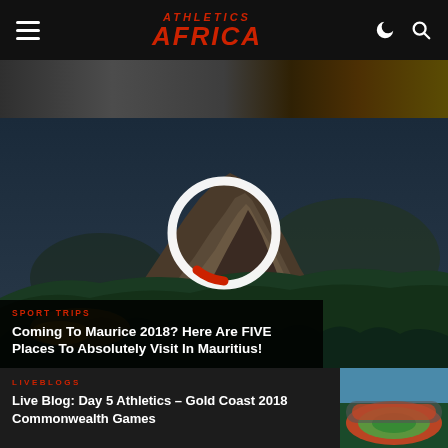Athletics Africa
[Figure (photo): Partial top image strip showing crowd or athletes]
[Figure (photo): Aerial view of Le Morne mountain in Mauritius with lush green forest and coastal landscape, with a play button circle overlay]
SPORT TRIPS
Coming To Maurice 2018? Here Are FIVE Places To Absolutely Visit In Mauritius!
LIVEBLOGS
Live Blog: Day 5 Athletics – Gold Coast 2018 Commonwealth Games
[Figure (photo): Aerial view of an athletics stadium with red track, likely Gold Coast]